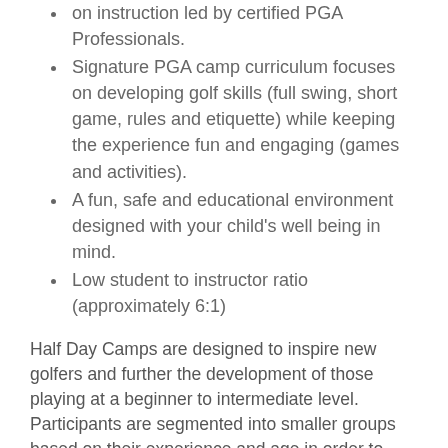on instruction led by certified PGA Professionals.
Signature PGA camp curriculum focuses on developing golf skills (full swing, short game, rules and etiquette) while keeping the experience fun and engaging (games and activities).
A fun, safe and educational environment designed with your child's well being in mind.
Low student to instructor ratio (approximately 6:1)
Half Day Camps are designed to inspire new golfers and further the development of those playing at a beginner to intermediate level. Participants are segmented into smaller groups based on their experience and age in order to create a favorable learning environment. For three hours each day, campers learn and hone their